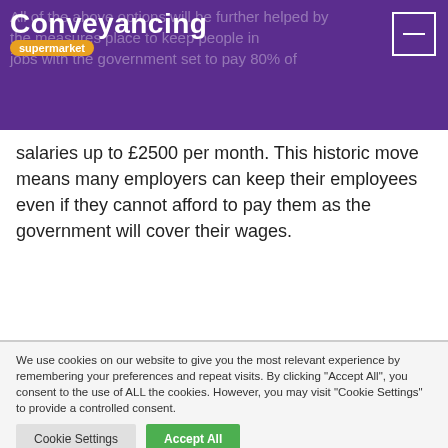Conveyancing supermarket
All of the above options will be further helped by the measures place to keep people in jobs with the government set to pay 80% of salaries up to £2500 per month. This historic move means many employers can keep their employees even if they cannot afford to pay them as the government will cover their wages.
We use cookies on our website to give you the most relevant experience by remembering your preferences and repeat visits. By clicking "Accept All", you consent to the use of ALL the cookies. However, you may visit "Cookie Settings" to provide a controlled consent.